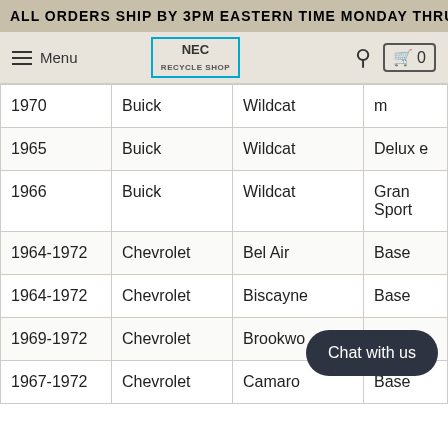ALL ORDERS SHIP BY 3PM EASTERN TIME MONDAY THRU
Menu | NEC RECYCLE SHOP | Search | Cart 0
| Year | Make | Model | Trim |
| --- | --- | --- | --- |
| 1970 | Buick | Wildcat | m |
| 1965 | Buick | Wildcat | Deluxe |
| 1966 | Buick | Wildcat | Gran Sport |
| 1964-1972 | Chevrolet | Bel Air | Base |
| 1964-1972 | Chevrolet | Biscayne | Base |
| 1969-1972 | Chevrolet | Brookwo… |  |
| 1967-1972 | Chevrolet | Camaro | Base |